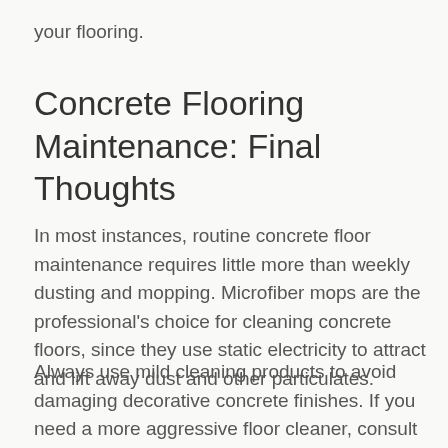your flooring.
Concrete Flooring Maintenance: Final Thoughts
In most instances, routine concrete floor maintenance requires little more than weekly dusting and mopping. Microfiber mops are the professional's choice for cleaning concrete floors, since they use static electricity to attract and lift away dust and other particulates.
Always use mild cleaning products to avoid damaging decorative concrete finishes. If you need a more aggressive floor cleaner, consult with an experienced concrete professional to ensure you